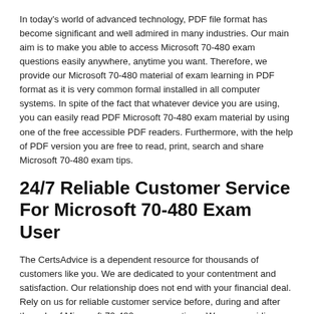In today's world of advanced technology, PDF file format has become significant and well admired in many industries. Our main aim is to make you able to access Microsoft 70-480 exam questions easily anywhere, anytime you want. Therefore, we provide our Microsoft 70-480 material of exam learning in PDF format as it is very common formal installed in all computer systems. In spite of the fact that whatever device you are using, you can easily read PDF Microsoft 70-480 exam material by using one of the free accessible PDF readers. Furthermore, with the help of PDF version you are free to read, print, search and share Microsoft 70-480 exam tips.
24/7 Reliable Customer Service For Microsoft 70-480 Exam User
The CertsAdvice is a dependent resource for thousands of customers like you. We are dedicated to your contentment and satisfaction. Our relationship does not end with your financial deal. Rely on us for reliable customer service before, during and after the sale of Microsoft 70-480 exam questions. We are providing 24/7 customer service so you can contact us at anytime. Our Microsoft professional experts and customer service representatives are always there to answer your quires if you have any issue or